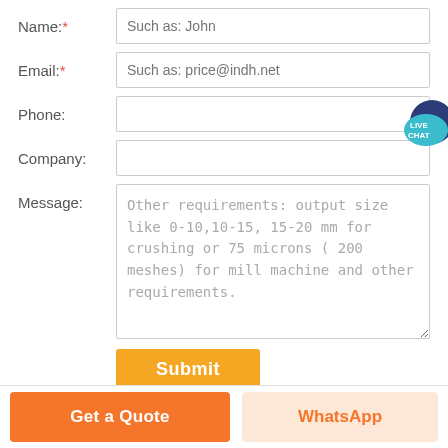Name:* — input placeholder: Such as: John
Email:* — input placeholder: Such as: price@indh.net
Phone: — input field
Company: — input field
Message: — textarea placeholder: Other requirements: output size like 0-10,10-15, 15-20 mm for crushing or 75 microns ( 200 meshes) for mill machine and other requirements.
[Figure (illustration): Live Chat speech bubble icon in teal/dark blue with text LIVE CHAT]
Submit button
Get a Quote button
WhatsApp button